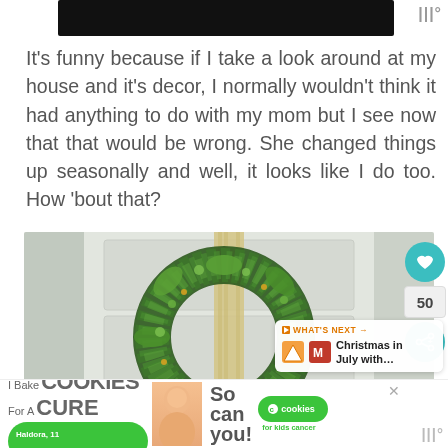[Figure (screenshot): Dark/black horizontal image bar at the top, partially cropped]
It's funny because if I take a look around at my house and it's decor, I normally wouldn't think it had anything to do with my mom but I see now that that would be wrong. She changed things up seasonally and well, it looks like I do too. How 'bout that?
[Figure (photo): Photo of a green boxwood wreath hanging on a white door with a burlap/cream ribbon]
[Figure (screenshot): Partial thumbnail of secondary image below wreath photo]
[Figure (infographic): Advertisement banner: I Bake COOKIES For A CURE - So can you! Cookies for Kids Cancer]